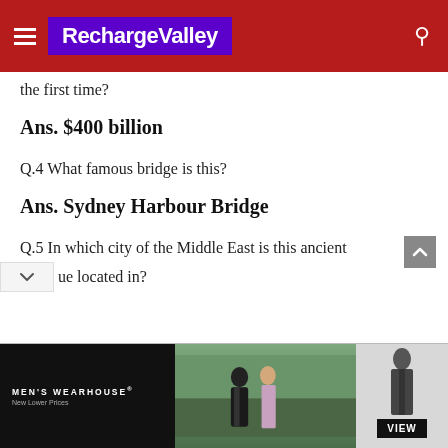RechargeValley
the first time?
Ans. $400 billion
Q.4 What famous bridge is this?
Ans. Sydney Harbour Bridge
Q.5 In which city of the Middle East is this ancient ue located in?
[Figure (photo): Men's Wearhouse advertisement showing a couple in formal wear and a man in a suit, with VIEW button]